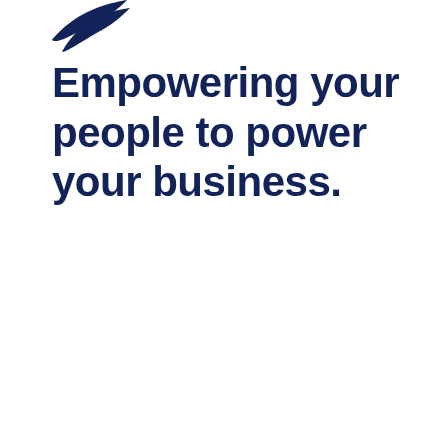[Figure (logo): Dark navy blue bird/swoosh logo mark, partially visible at top left corner]
Empowering your people to power your business.